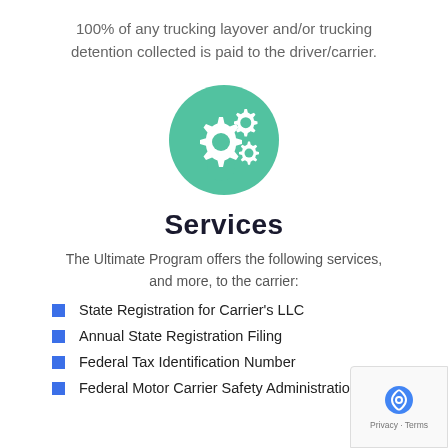100% of any trucking layover and/or trucking detention collected is paid to the driver/carrier.
[Figure (illustration): Green circular icon with white gear/cog symbols representing services]
Services
The Ultimate Program offers the following services, and more, to the carrier:
State Registration for Carrier's LLC
Annual State Registration Filing
Federal Tax Identification Number
Federal Motor Carrier Safety Administration